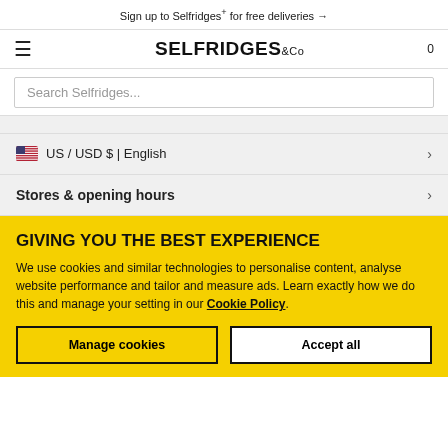Sign up to Selfridges+ for free deliveries →
[Figure (logo): Selfridges & Co logo with hamburger menu icon on left and cart count 0 on right]
Search Selfridges...
🇺🇸 US / USD $ | English >
Stores & opening hours >
GIVING YOU THE BEST EXPERIENCE
We use cookies and similar technologies to personalise content, analyse website performance and tailor and measure ads. Learn exactly how we do this and manage your setting in our Cookie Policy.
Manage cookies | Accept all